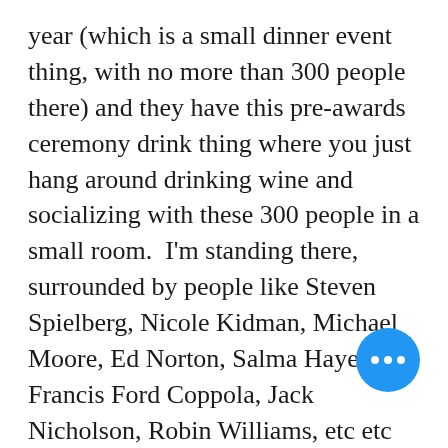year (which is a small dinner event thing, with no more than 300 people there) and they have this pre-awards ceremony drink thing where you just hang around drinking wine and socializing with these 300 people in a small room.  I'm standing there, surrounded by people like Steven Spielberg, Nicole Kidman, Michael Moore, Ed Norton, Salma Hayek, Francis Ford Coppola, Jack Nicholson, Robin Williams, etc etc etc…  And as a writer/producer, you're looking at these people thinking frustratingly to yourself — These people could so help me in my career…, yet you can't say a thing.  Because when it all comes down to it — if you ever dare say hello and do that cheesy you are my i… talk, you can kiss your chances at ever professionally working with them again